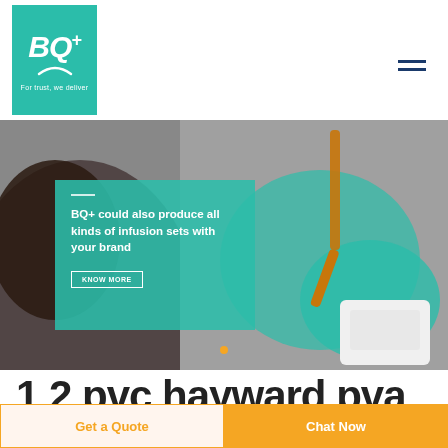[Figure (logo): BQ+ logo on teal green background with tagline 'For trust, we deliver']
[Figure (photo): Medical professional wearing teal gloves handling an IV infusion set with amber fluid, background shows medical equipment]
BQ+ could also produce all kinds of infusion sets with your brand
KNOW MORE
1 2 pvc hayward pva
Get a Quote
Chat Now